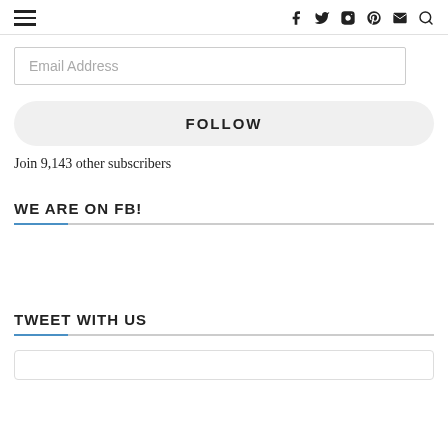☰  f  🐦  📷  🅟  ✉  🔍
Email Address
FOLLOW
Join 9,143 other subscribers
WE ARE ON FB!
TWEET WITH US